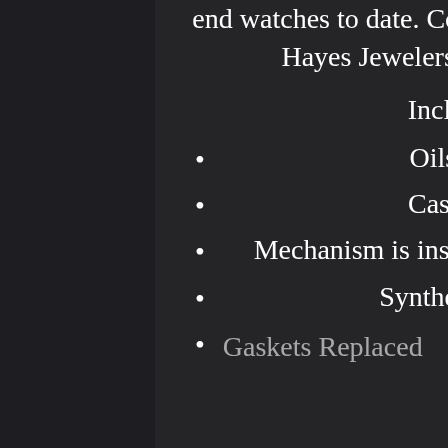end watches to date. Come see why Orange County has trusted Hayes Jewelers with their precious investment.
Included with service is:
Oils & Lubricants Changed
Case & Bracelet Refinished
Mechanism is inspected and all worn parts are replaced
Synthetic Lubricants are Applied
Gaskets Replaced